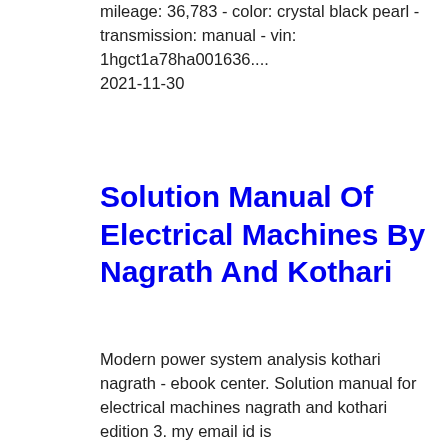mileage: 36,783 - color: crystal black pearl - transmission: manual - vin: 1hgct1a78ha001636.... 2021-11-30
Solution Manual Of Electrical Machines By Nagrath And Kothari
Modern power system analysis kothari nagrath - ebook center. Solution manual for electrical machines nagrath and kothari edition 3. my email id is diva3792@gmail.com my email id is